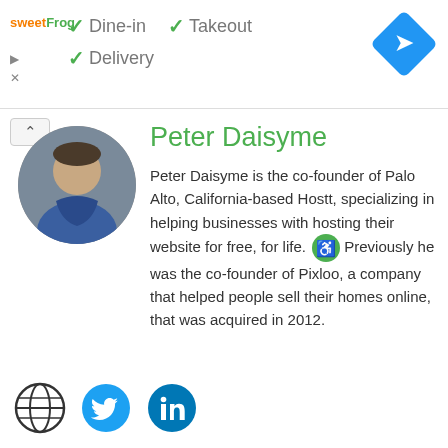[Figure (screenshot): Top banner with sweetFrog logo, checkmark icons for Dine-in, Takeout, Delivery options, and a blue navigation diamond icon]
Peter Daisyme
[Figure (photo): Circular profile photo of Peter Daisyme, a man in a blue jacket]
Peter Daisyme is the co-founder of Palo Alto, California-based Hostt, specializing in helping businesses with hosting their website for free, for life. Previously he was the co-founder of Pixloo, a company that helped people sell their homes online, that was acquired in 2012.
[Figure (infographic): Social icons: globe/website icon, Twitter bird icon, LinkedIn icon]